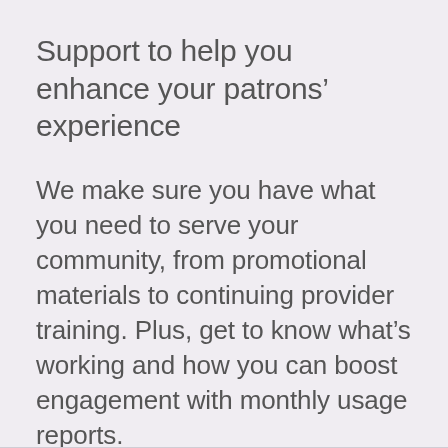Support to help you enhance your patrons' experience
We make sure you have what you need to serve your community, from promotional materials to continuing provider training. Plus, get to know what's working and how you can boost engagement with monthly usage reports.